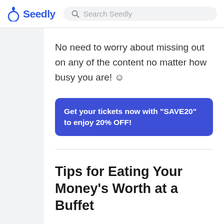Seedly | Search Seedly
No need to worry about missing out on any of the content no matter how busy you are! ☺
Get your tickets now with "SAVE20" to enjoy 20% OFF!
Tips for Eating Your Money's Worth at a Buffet